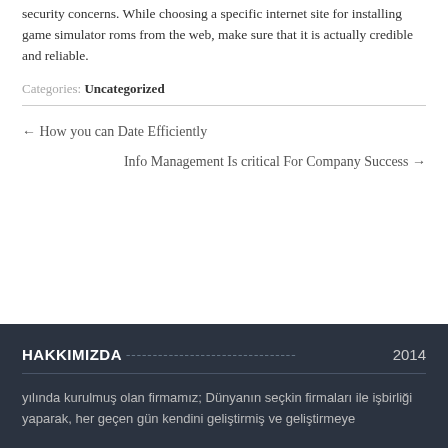security concerns. While choosing a specific internet site for installing game simulator roms from the web, make sure that it is actually credible and reliable.
Categories: Uncategorized
← How you can Date Efficiently
Info Management Is critical For Company Success →
HAKKIMIZDA 2014
yılında kurulmuş olan firmamız; Dünyanın seçkin firmaları ile işbirliği yaparak, her geçen gün kendini geliştirmiş ve geliştirmeye